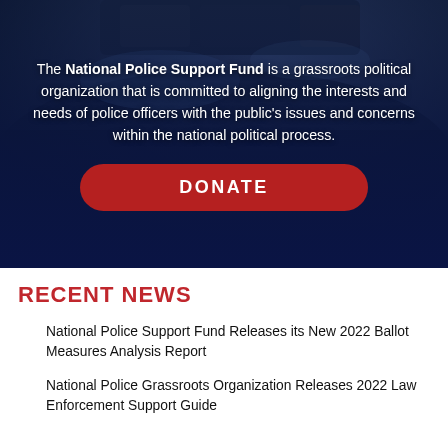[Figure (photo): Dark blue background photo of police car light bars at night with overlay text and donate button]
The National Police Support Fund is a grassroots political organization that is committed to aligning the interests and needs of police officers with the public's issues and concerns within the national political process.
RECENT NEWS
National Police Support Fund Releases its New 2022 Ballot Measures Analysis Report
National Police Grassroots Organization Releases 2022 Law Enforcement Support Guide